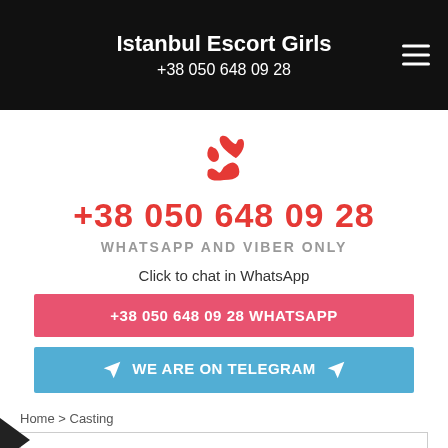Istanbul Escort Girls
+38 050 648 09 28
+38 050 648 09 28
WHATSAPP AND VIBER ONLY
Click to chat in WhatsApp
+38 050 648 09 28 WHATSAPP
WE ARE ON TELEGRAM
Home > Casting
CASTING